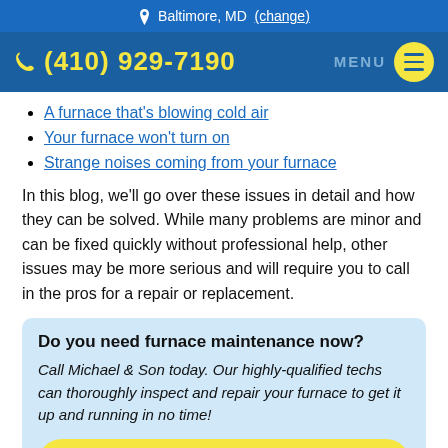Baltimore, MD (change)
(410) 929-7190  MENU
A furnace that's blowing cold air
Your furnace won't turn on
Strange noises coming from your furnace
In this blog, we'll go over these issues in detail and how they can be solved. While many problems are minor and can be fixed quickly without professional help, other issues may be more serious and will require you to call in the pros for a repair or replacement.
Do you need furnace maintenance now?
Call Michael & Son today. Our highly-qualified techs can thoroughly inspect and repair your furnace to get it up and running in no time!
BOOK ONLINE →